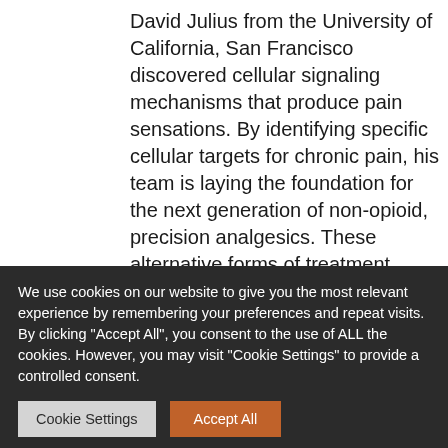David Julius from the University of California, San Francisco discovered cellular signaling mechanisms that produce pain sensations. By identifying specific cellular targets for chronic pain, his team is laying the foundation for the next generation of non-opioid, precision analgesics. These alternative forms of treatment mean to overcome the addictive nature and other side effects of traditional opioids used to relieve pain. The researcher is an American physiologist known and lavishly awarded for his work on molecular mechanisms underlying the detection of thermal
We use cookies on our website to give you the most relevant experience by remembering your preferences and repeat visits. By clicking "Accept All", you consent to the use of ALL the cookies. However, you may visit "Cookie Settings" to provide a controlled consent.